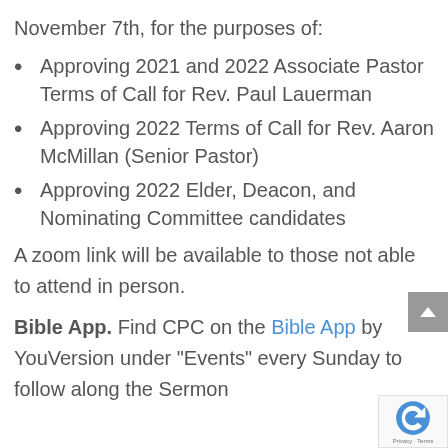November 7th, for the purposes of:
Approving 2021 and 2022 Associate Pastor Terms of Call for Rev. Paul Lauerman
Approving 2022 Terms of Call for Rev. Aaron McMillan (Senior Pastor)
Approving 2022 Elder, Deacon, and Nominating Committee candidates
A zoom link will be available to those not able to attend in person.
Bible App. Find CPC on the Bible App by YouVersion under “Events” every Sunday to follow along the Sermon